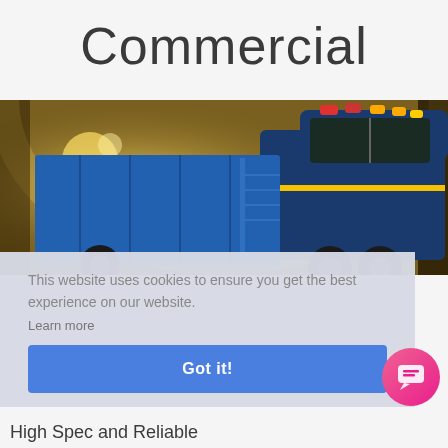Commercial
[Figure (photo): Blue commercial/dump truck with warning lights on top, driving through a tunnel with yellow lights in the background]
This website uses cookies to ensure you get the best experience on our website.
Learn more
Got it!
High Spec and Reliable